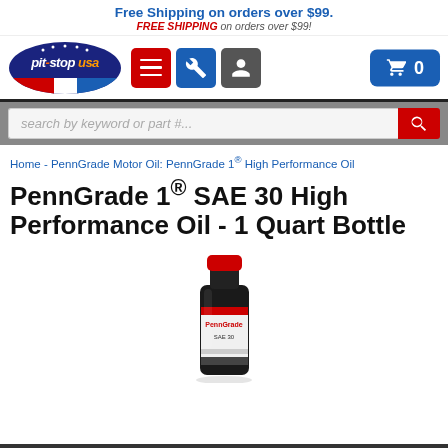Free Shipping on orders over $99. FREE SHIPPING on orders over $99!
[Figure (logo): Pit Stop USA logo - oval shaped with red/white/blue flag stripe]
[Figure (screenshot): Navigation icons: hamburger menu (red), wrench (blue), user (gray); cart button (blue) showing 0]
[Figure (screenshot): Search bar with placeholder 'search by keyword or part #...' and red search button]
Home - PennGrade Motor Oil: PennGrade 1® High Performance Oil
PennGrade 1® SAE 30 High Performance Oil - 1 Quart Bottle
[Figure (photo): PennGrade 1 SAE 30 High Performance Motor Oil black 1 quart bottle with red cap]